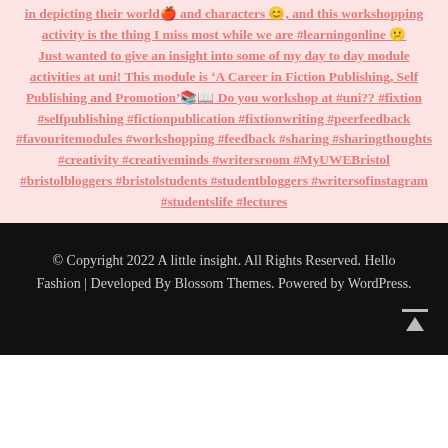in depicting their world and characters, and this workshopping activity is the thing I miss most while we are #learningonline 😔 Just wanted to give an insight into some of my day to day module activities at uni! This module is 'A Career in Fiction Publishing, Self Publishing and Promotion'📚📖 Do you workshop at #uni?? #fixtion #selfpublishing #fictionpublication #fixtionwriting #peerfeedback #favouritemodules #workshopping #feedback #sharing #sharingthoughts #creativity #creativeminds #writersroom #MyUWEBristol #bristolbloggers #bristolstudents #studentbloggers #writersofinstagram #studentslife #lectures
© Copyright 2022 A little insight. All Rights Reserved. Hello Fashion | Developed By Blossom Themes. Powered by WordPress.